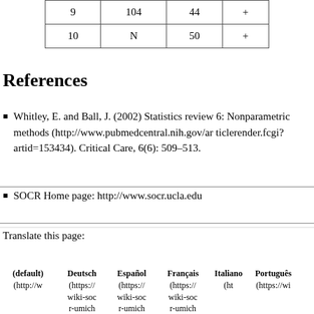| 9 | 104 | 44 | + |
| 10 | N | 50 | + |
References
Whitley, E. and Ball, J. (2002) Statistics review 6: Nonparametric methods (http://www.pubmedcentral.nih.gov/articlerender.fcgi?artid=153434). Critical Care, 6(6): 509–513.
SOCR Home page: http://www.socr.ucla.edu
Translate this page:
(default) (http://w... Deutsch (https://wiki-socr-umich... Español (https://wiki-socr-umich... Français (https://wiki-socr-umich... Italiano (ht... Português (https://wi... 日本語 (s://w...ocr...